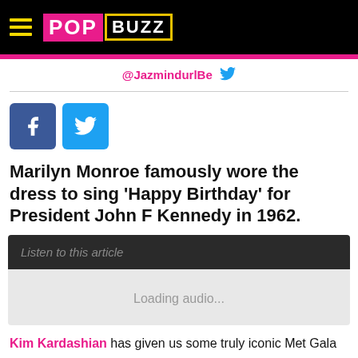PopBuzz
@JazmindurlBe (Twitter handle)
[Figure (logo): Facebook and Twitter share button icons]
Marilyn Monroe famously wore the dress to sing 'Happy Birthday' for President John F Kennedy in 1962.
Listen to this article
Loading audio...
Kim Kardashian has given us some truly iconic Met Gala